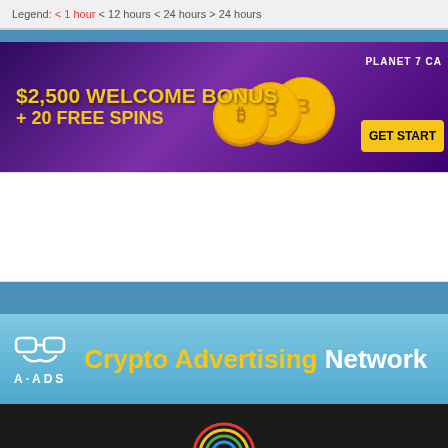Legend: < 1 hour < 12 hours < 24 hours > 24 hours
[Figure (infographic): Casino advertisement banner: $2,500 WELCOME BONUS + 20 FREE SPINS with bitcoin coins and Planet 7 Casino logo with GET STARTED button]
[Figure (infographic): A-ADS Crypto Advertising Network banner with logo and tagline]
[Figure (logo): Circular logo with colorful rings on dark background]
© 2014-2018 BuxInside. All rights reserved.
Payments   Terms of Service   Privacy Policy   Help   Co...